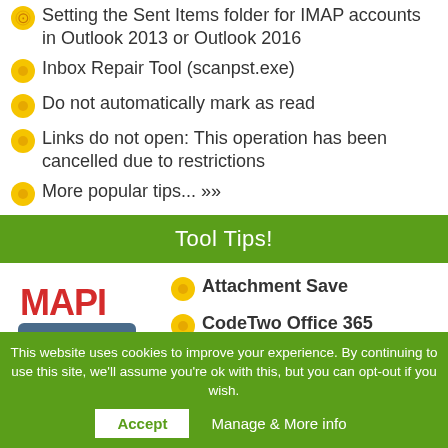Setting the Sent Items folder for IMAP accounts in Outlook 2013 or Outlook 2016
Inbox Repair Tool (scanpst.exe)
Do not automatically mark as read
Links do not open: This operation has been cancelled due to restrictions
More popular tips... »»
Tool Tips!
[Figure (logo): MAPIlab logo with red MAPI text and blue lab text on speech bubble]
Attachment Save
CodeTwo Office 365 Migration
This website uses cookies to improve your experience. By continuing to use this site, we'll assume you're ok with this, but you can opt-out if you wish.
Accept   Manage & More info